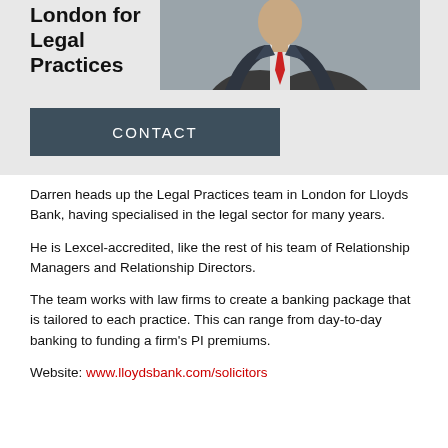London for Legal Practices
[Figure (photo): Photo of a man in a suit with a red tie, upper body visible, grey background]
CONTACT
Darren heads up the Legal Practices team in London for Lloyds Bank, having specialised in the legal sector for many years.
He is Lexcel-accredited, like the rest of his team of Relationship Managers and Relationship Directors.
The team works with law firms to create a banking package that is tailored to each practice. This can range from day-to-day banking to funding a firm's PI premiums.
Website: www.lloydsbank.com/solicitors